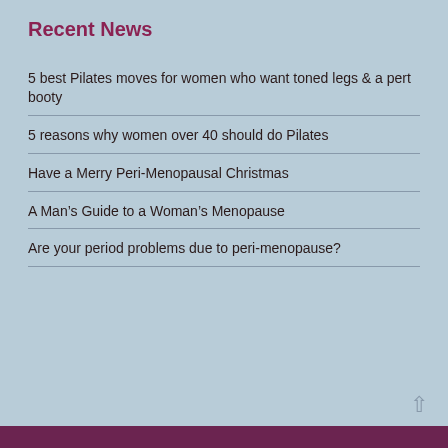Recent News
5 best Pilates moves for women who want toned legs & a pert booty
5 reasons why women over 40 should do Pilates
Have a Merry Peri-Menopausal Christmas
A Man’s Guide to a Woman’s Menopause
Are your period problems due to peri-menopause?